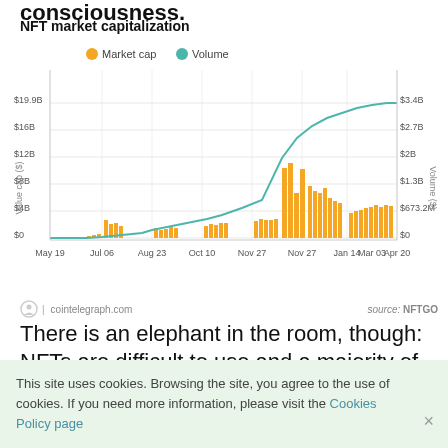consciousness.
[Figure (bar-chart): NFT market capitalization]
source: NFTGO | cointelegraph.com
There is an elephant in the room, though: NFTs are difficult to use and a majority of them are digital snake oil. But these problems
This site uses cookies. Browsing the site, you agree to the use of cookies. If you need more information, please visit the Cookies Policy page